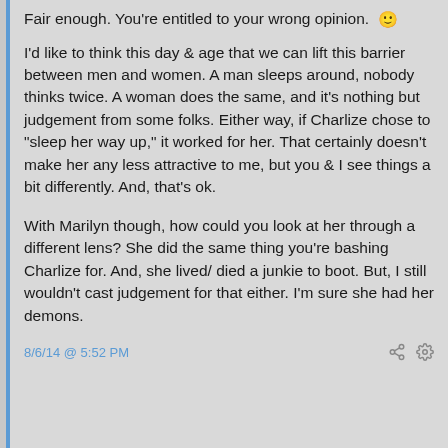Fair enough. You're entitled to your wrong opinion. 😊
I'd like to think this day & age that we can lift this barrier between men and women. A man sleeps around, nobody thinks twice. A woman does the same, and it's nothing but judgement from some folks. Either way, if Charlize chose to "sleep her way up," it worked for her. That certainly doesn't make her any less attractive to me, but you & I see things a bit differently. And, that's ok.
With Marilyn though, how could you look at her through a different lens? She did the same thing you're bashing Charlize for. And, she lived/ died a junkie to boot. But, I still wouldn't cast judgement for that either. I'm sure she had her demons.
8/6/14 @ 5:52 PM